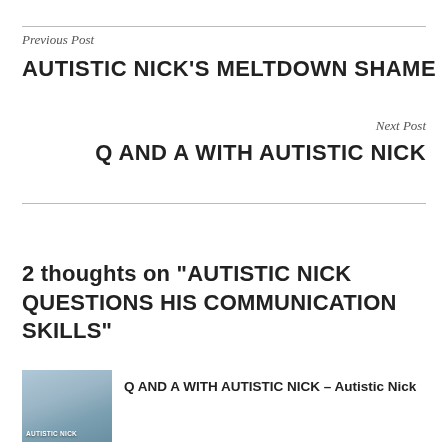Previous Post
AUTISTIC NICK'S MELTDOWN SHAME
Next Post
Q AND A WITH AUTISTIC NICK
2 thoughts on “AUTISTIC NICK QUESTIONS HIS COMMUNICATION SKILLS”
Q AND A WITH AUTISTIC NICK – Autistic Nick